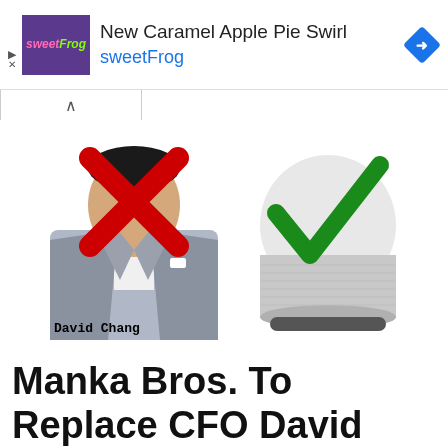[Figure (screenshot): Advertisement banner for sweetFrog showing 'New Caramel Apple Pie Swirl sweetFrog' with logo and navigation arrow icon]
[Figure (photo): Composite image showing a man in a suit labeled 'David Chang' with a large red X over his face on the left, and a Google Home smart speaker device with a large green checkmark on the right]
Manka Bros. To Replace CFO David Chang With A.I.